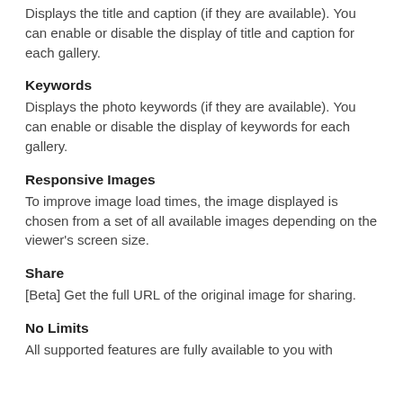Displays the title and caption (if they are available). You can enable or disable the display of title and caption for each gallery.
Keywords
Displays the photo keywords (if they are available). You can enable or disable the display of keywords for each gallery.
Responsive Images
To improve image load times, the image displayed is chosen from a set of all available images depending on the viewer's screen size.
Share
[Beta] Get the full URL of the original image for sharing.
No Limits
All supported features are fully available to you with